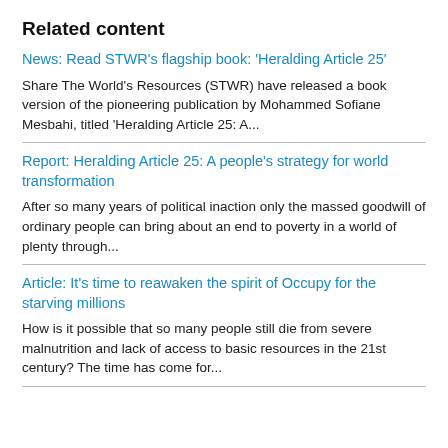Related content
News: Read STWR's flagship book: 'Heralding Article 25'
Share The World's Resources (STWR) have released a book version of the pioneering publication by Mohammed Sofiane Mesbahi, titled 'Heralding Article 25: A...
Report: Heralding Article 25: A people's strategy for world transformation
After so many years of political inaction only the massed goodwill of ordinary people can bring about an end to poverty in a world of plenty through...
Article: It's time to reawaken the spirit of Occupy for the starving millions
How is it possible that so many people still die from severe malnutrition and lack of access to basic resources in the 21st century? The time has come for...